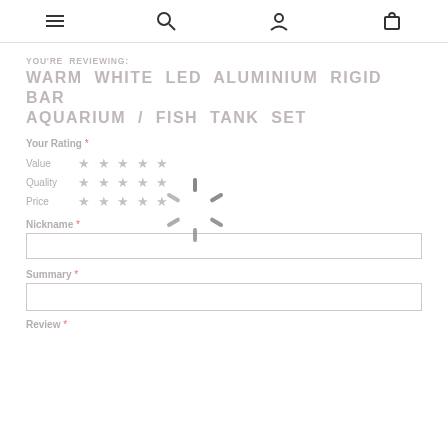Navigation header with menu, search, account, and cart icons
YOU'RE REVIEWING:
WARM WHITE LED ALUMINIUM RIGID BAR AQUARIUM / FISH TANK SET
Your Rating *
Value ★ ★ ★ ★ ★
Quality ★ ★ ★ ★ ★
Price ★ ★ ★ ★ ★
[Figure (infographic): Loading spinner (spinning wheel/radial lines) overlaid on center of page]
Nickname *
Summary *
Review *